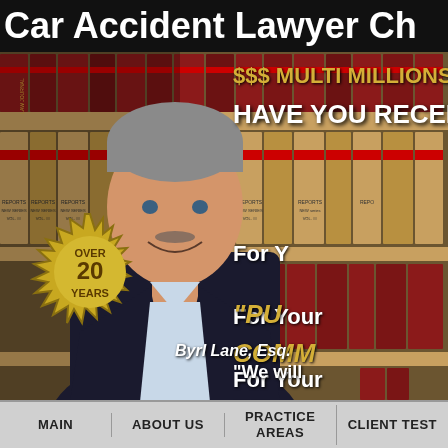Car Accident Lawyer Ch
[Figure (photo): Screenshot of a law firm website featuring a male lawyer (Byrl Lane, Esq.) in a suit and tie, standing in front of law book shelves. Gold seal reads OVER 20 YEARS. Right side text reads: $$$ MULTI MILLIONS, HAVE YOU RECEIVED, For Y, For You, For You, then PU COMM in gold italic, and We will mor. Navigation bar at bottom.]
$$$ MULTI MILLIONS
HAVE YOU RECEIVED
For Y
For You
For You
OVER
20
YEARS
"PU
COMM
"We will
mor
Byrl Lane, Esq.
MAIN | ABOUT US | PRACTICE AREAS | CLIENT TEST